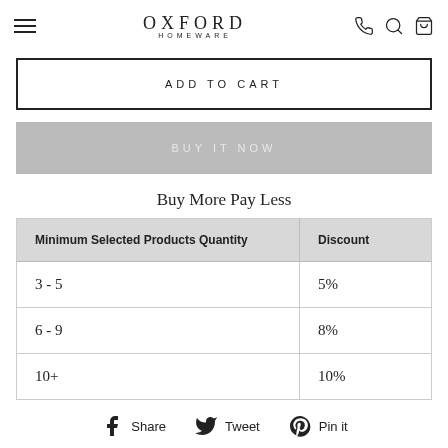OXFORD HOMEWARE
ADD TO CART
BUY IT NOW
Buy More Pay Less
| Minimum Selected Products Quantity | Discount |
| --- | --- |
| 3 - 5 | 5% |
| 6 - 9 | 8% |
| 10+ | 10% |
Share  Tweet  Pin it